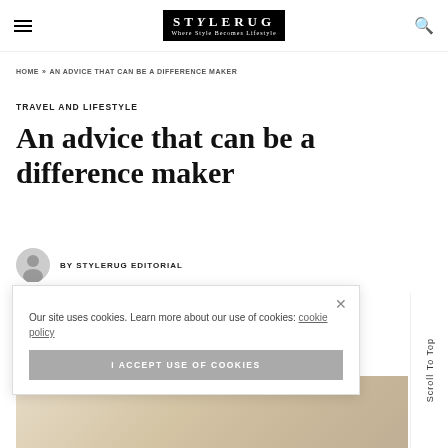STYLERUG — navigation header with hamburger menu and search icon
HOME » AN ADVICE THAT CAN BE A DIFFERENCE MAKER
TRAVEL AND LIFESTYLE
An advice that can be a difference maker
BY STYLERUG EDITORIAL
Our site uses cookies. Learn more about our use of cookies: cookie policy
I ACCEPT USE OF COOKIES
[Figure (photo): Partial view of a blonde woman, bottom of page]